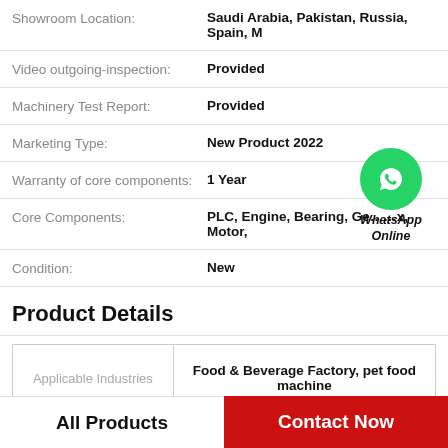| Field | Value |
| --- | --- |
| Showroom Location: | Saudi Arabia, Pakistan, Russia, Spain, M… |
| Video outgoing-inspection: | Provided |
| Machinery Test Report: | Provided |
| Marketing Type: | New Product 2022 |
| Warranty of core components: | 1 Year |
| Core Components: | PLC, Engine, Bearing, Gearbox, Motor, |
| Condition: | New |
Product Details
| Applicable Industries | Value |
| --- | --- |
| Applicable Industries | Food & Beverage Factory, pet food machine |
[Figure (other): WhatsApp Online contact badge with green phone icon]
All Products
Contact Now